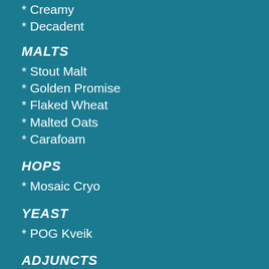* Creamy
* Decadent
MALTS
* Stout Malt
* Golden Promise
* Flaked Wheat
* Malted Oats
* Carafoam
HOPS
* Mosaic Cryo
YEAST
* POG Kveik
ADJUNCTS
* Lactose